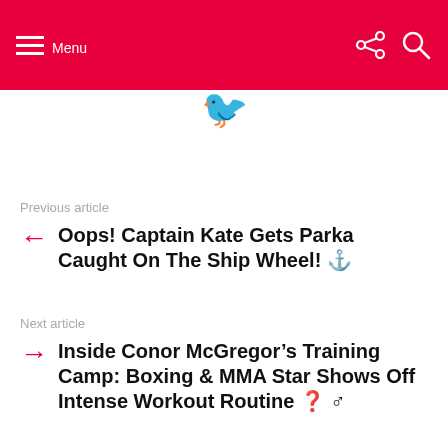Menu
Previous article
Oops! Captain Kate Gets Parka Caught On The Ship Wheel! ⚓
Next article
Inside Conor McGregor's Training Camp: Boxing & MMA Star Shows Off Intense Workout Routine ? ♂